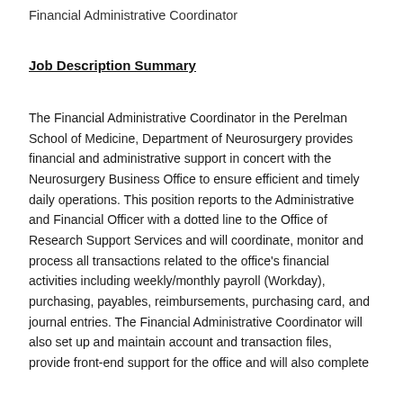Financial Administrative Coordinator
Job Description Summary
The Financial Administrative Coordinator in the Perelman School of Medicine, Department of Neurosurgery provides financial and administrative support in concert with the Neurosurgery Business Office to ensure efficient and timely daily operations. This position reports to the Administrative and Financial Officer with a dotted line to the Office of Research Support Services and will coordinate, monitor and process all transactions related to the office's financial activities including weekly/monthly payroll (Workday), purchasing, payables, reimbursements, purchasing card, and journal entries. The Financial Administrative Coordinator will also set up and maintain account and transaction files, provide front-end support for the office and will also complete